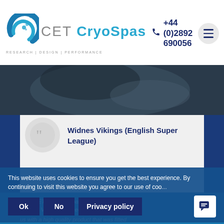[Figure (logo): CET CryoSpas logo with circular blue wave graphic and tagline RESEARCH | DESIGN | PERFORMANCE]
+44 (0)2892 690056
[Figure (photo): Dark close-up hero image of a cryospa tub]
Widnes Vikings (English Super League)
“The CET CryoSpa that we have installed at Widnes Vikings has been invaluable in helping the management of fatigue and recovery in our s... us with a high quality product that was fitted
This website uses cookies to ensure you get the best experience. By continuing to visit this website you agree to our use of cookies
Ok
No
Privacy policy